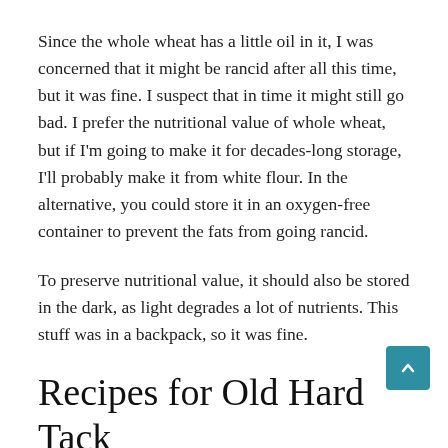Since the whole wheat has a little oil in it, I was concerned that it might be rancid after all this time, but it was fine. I suspect that in time it might still go bad. I prefer the nutritional value of whole wheat, but if I'm going to make it for decades-long storage, I'll probably make it from white flour. In the alternative, you could store it in an oxygen-free container to prevent the fats from going rancid.
To preserve nutritional value, it should also be stored in the dark, as light degrades a lot of nutrients. This stuff was in a backpack, so it was fine.
Recipes for Old Hard Tack
Assuming you have properly preserved your hard tack, these easy recipes should yield a tender, tasty